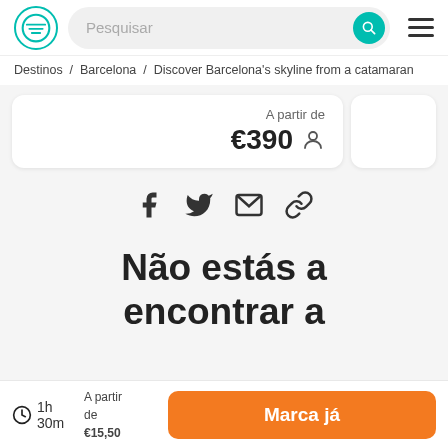Pesquisar
Destinos / Barcelona / Discover Barcelona’s skyline from a catamaran
A partir de €390
[Figure (other): Social share icons: Facebook, Twitter, Email, Link]
Não estás a encontrar a
1h 30m  A partir de €15,50  Marca já